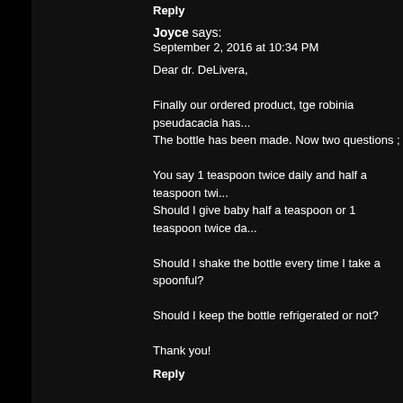Reply
Joyce says:
September 2, 2016 at 10:34 PM
Dear dr. DeLivera,

Finally our ordered product, tge robinia pseudacacia has... The bottle has been made. Now two questions ;

You say 1 teaspoon twice daily and half a teaspoon twi... Should I give baby half a teaspoon or 1 teaspoon twice da...

Should I shake the bottle every time I take a spoonful?

Should I keep the bottle refrigerated or not?

Thank you!
Reply
Joyce says:
September 5, 2016 at 1:50 PM
Dear dr. De Livera,

Reporting back after 48 hours. I have done as prescrib... following I notice:

– constipation is gone
– she doesn't seem hungrier or thirstier any longer and... regularly again (every 4 hours more or less)